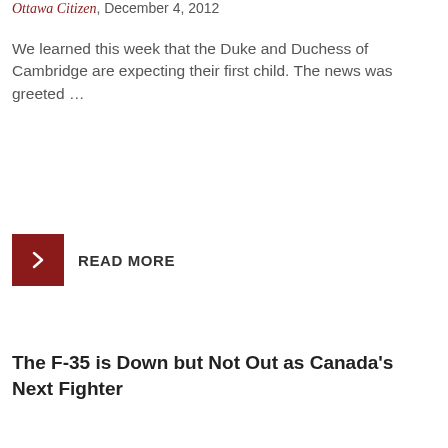Ottawa Citizen, December 4, 2012
We learned this week that the Duke and Duchess of Cambridge are expecting their first child. The news was greeted …
READ MORE
The F-35 is Down but Not Out as Canada's Next Fighter
Analysis   November 30, 2012
by Philippe Lagassé
The Harper government recently announced that the National Fighter Procurement Secretariat (NFPS) will be looking at various options to replace Canada's aging CF-18s. This comes at a